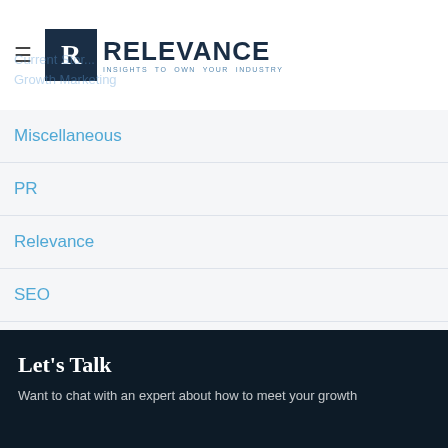Relevance — Insights to Own Your Industry
Miscellaneous
PR
Relevance
SEO
Let's Talk
Want to chat with an expert about how to meet your growth